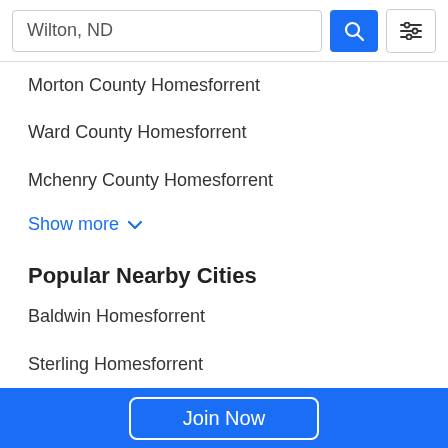Wilton, ND
Morton County Homesforrent
Ward County Homesforrent
Mchenry County Homesforrent
Show more
Popular Nearby Cities
Baldwin Homesforrent
Sterling Homesforrent
Stanton Homesforrent
Riverdale Homesforrent
Join Now